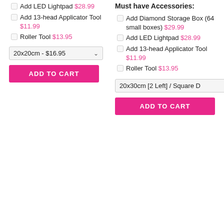Add LED Lightpad $28.99
Add 13-head Applicator Tool $11.99
Roller Tool $13.95
20x20cm - $16.95
ADD TO CART
Must have Accessories:
Add Diamond Storage Box (64 small boxes) $29.99
Add LED Lightpad $28.99
Add 13-head Applicator Tool $11.99
Roller Tool $13.95
20x30cm [2 Left] / Square D
ADD TO CART